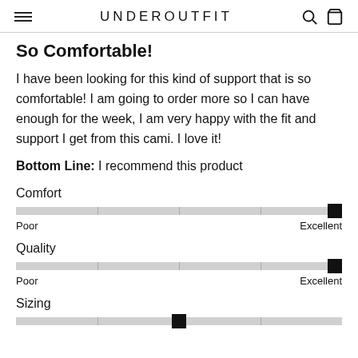UNDEROUTFIT
So Comfortable!
I have been looking for this kind of support that is so comfortable! I am going to order more so I can have enough for the week, I am very happy with the fit and support I get from this cami. I love it!
Bottom Line: I recommend this product
[Figure (other): Comfort rating slider at maximum (Excellent) end]
[Figure (other): Quality rating slider at maximum (Excellent) end]
[Figure (other): Sizing rating slider at middle position]